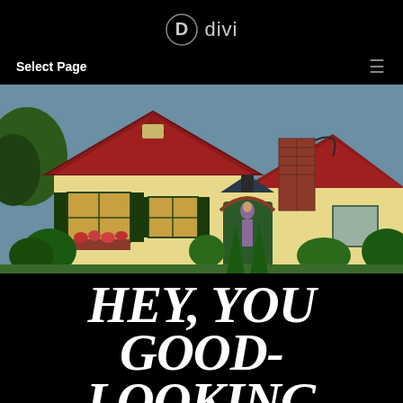D divi
Select Page
[Figure (illustration): Vintage illustration of a charming cottage-style house with red roof, brick chimney, green shutters, flower boxes, arched doorway with a woman standing in the doorway, surrounded by lush greenery and trees.]
HEY, YOU GOOD-LOOKING NEIGHBORHOOD